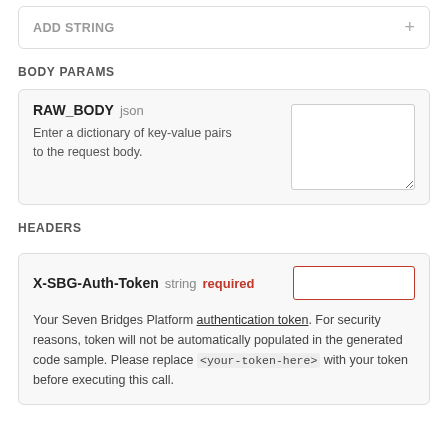ADD STRING +
BODY PARAMS
RAW_BODY json — Enter a dictionary of key-value pairs to the request body.
HEADERS
X-SBG-Auth-Token string required — Your Seven Bridges Platform authentication token. For security reasons, token will not be automatically populated in the generated code sample. Please replace <your-token-here> with your token before executing this call.